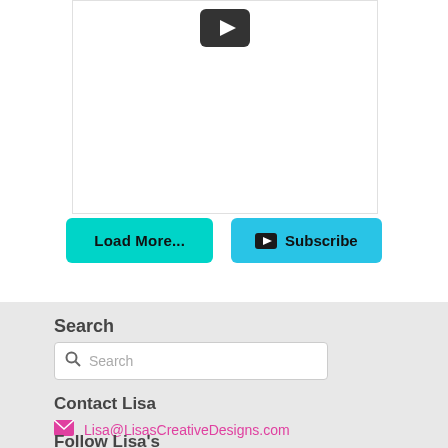[Figure (screenshot): YouTube video card placeholder with YouTube play button icon on white background with light border]
Load More...
Subscribe
Search
Search
Contact Lisa
Lisa@LisasCreativeDesigns.com
Follow Lisa's